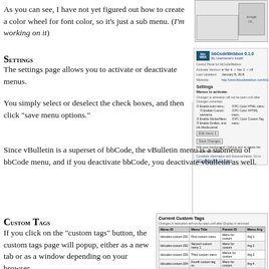As you can see, I have not yet figured out how to create a color wheel for font color, so it's just a sub menu. (I'm working on it)
[Figure (screenshot): Screenshot of a color picker or image dialog with small toolbar buttons]
Settings
The settings page allows you to activate or deactivate menus.
You simply select or deselect the check boxes, and then click “save menu options.”
[Figure (screenshot): bbCodeWebbox 0.1.0 plugin settings panel showing menus to activate with checkboxes and save button]
Since vBulletin is a superset of bbCode, the vBulletin menu is a submenu of bbCode menu, and if you deactivate bbCode, you deactivate vbulletin as well.
Custom Tags
If you click on the “custom tags” button, the custom tags page will popup, either as a new tab or as a window depending on your browser
[Figure (screenshot): Current Custom Tags panel showing a table with columns Menu ID, Menu Title, Parent ID, Menu Arg and several rows of custom tag entries]